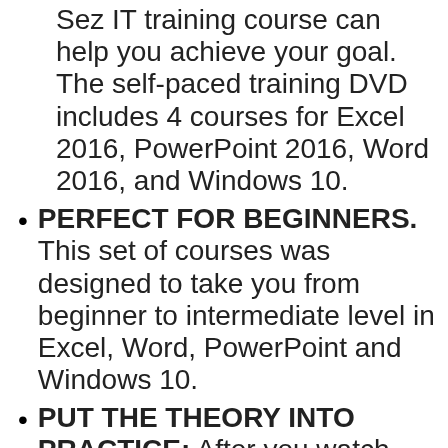Sez IT training course can help you achieve your goal. The self-paced training DVD includes 4 courses for Excel 2016, PowerPoint 2016, Word 2016, and Windows 10.
PERFECT FOR BEGINNERS. This set of courses was designed to take you from beginner to intermediate level in Excel, Word, PowerPoint and Windows 10.
PUT THE THEORY INTO PRACTICE: After you watch the training videos, you can test yourself with some extremely helpful